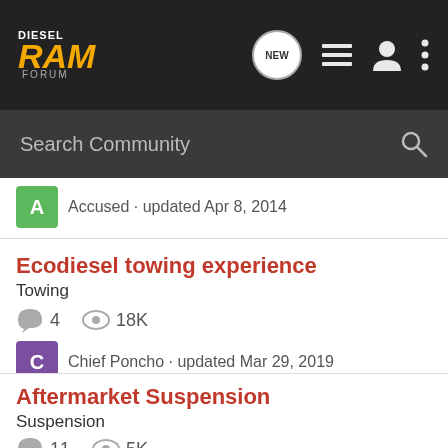DIESEL RAM FORUM
Search Community
Accused · updated Apr 8, 2014
Ecodiesel towing experience
Towing
4   18K
Chief Poncho · updated Mar 29, 2019
Aftermarket Suspension
Suspension
11   5K
jbeever · updated Nov 20, 2014